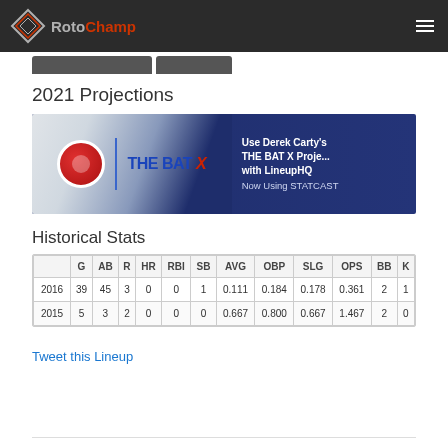RotoChamp
2021 Projections
[Figure (illustration): THE BAT X advertisement banner: Use Derek Carty's THE BAT X Projections with LineupHQ, Now Using STATCAST]
Historical Stats
|  | G | AB | R | HR | RBI | SB | AVG | OBP | SLG | OPS | BB | K |
| --- | --- | --- | --- | --- | --- | --- | --- | --- | --- | --- | --- | --- |
| 2016 | 39 | 45 | 3 | 0 | 0 | 1 | 0.111 | 0.184 | 0.178 | 0.361 | 2 | 1 |
| 2015 | 5 | 3 | 2 | 0 | 0 | 0 | 0.667 | 0.800 | 0.667 | 1.467 | 2 | 0 |
Tweet this Lineup